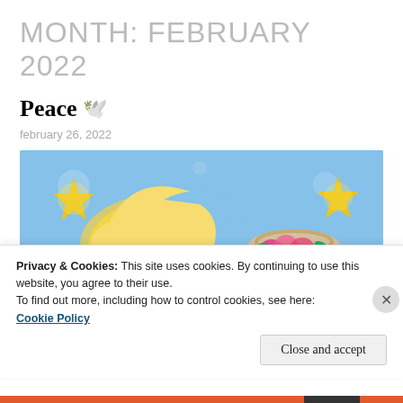MONTH: FEBRUARY 2022
Peace 🕊
february 26, 2022
[Figure (illustration): Illustration of a crescent moon with stars and a pot of roses on a blue sky background]
Privacy & Cookies: This site uses cookies. By continuing to use this website, you agree to their use.
To find out more, including how to control cookies, see here:
Cookie Policy
Close and accept